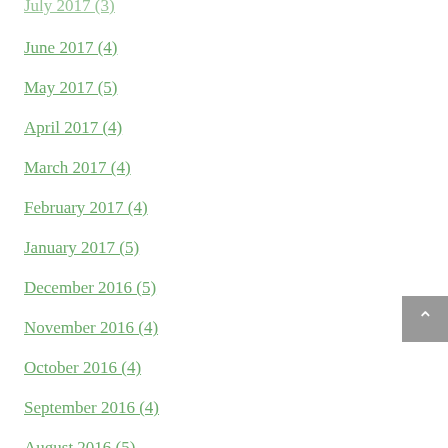July 2017 (3)
June 2017 (4)
May 2017 (5)
April 2017 (4)
March 2017 (4)
February 2017 (4)
January 2017 (5)
December 2016 (5)
November 2016 (4)
October 2016 (4)
September 2016 (4)
August 2016 (5)
July 2016 (4)
June 2016 (4)
May 2016 (5)
April 2016 (4)